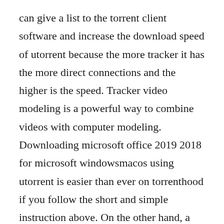can give a list to the torrent client software and increase the download speed of utorrent because the more tracker it has the more direct connections and the higher is the speed. Tracker video modeling is a powerful way to combine videos with computer modeling. Downloading microsoft office 2019 2018 for microsoft windowsmacos using utorrent is easier than ever on torrenthood if you follow the short and simple instruction above. On the other hand, a private tracker is opened only for registered users and they limit the usage as per upload or download ration.